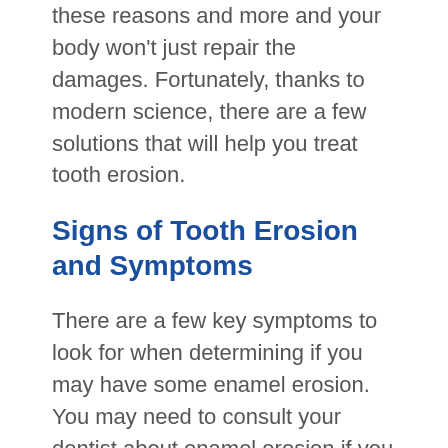these reasons and more and your body won't just repair the damages. Fortunately, thanks to modern science, there are a few solutions that will help you treat tooth erosion.
Signs of Tooth Erosion and Symptoms
There are a few key symptoms to look for when determining if you may have some enamel erosion. You may need to consult your dentist about enamel erosion if you notice that:
Your teeth are become more sensitive, either the certain foods, like sweets, or to extreme temperatures, like hot soup or ice